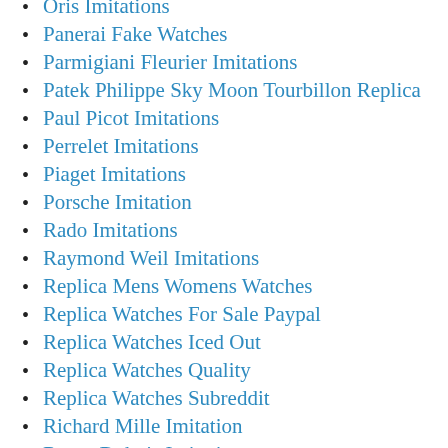Oris Imitations
Panerai Fake Watches
Parmigiani Fleurier Imitations
Patek Philippe Sky Moon Tourbillon Replica
Paul Picot Imitations
Perrelet Imitations
Piaget Imitations
Porsche Imitation
Rado Imitations
Raymond Weil Imitations
Replica Mens Womens Watches
Replica Watches For Sale Paypal
Replica Watches Iced Out
Replica Watches Quality
Replica Watches Subreddit
Richard Mille Imitation
Roger Dubuis Imitations